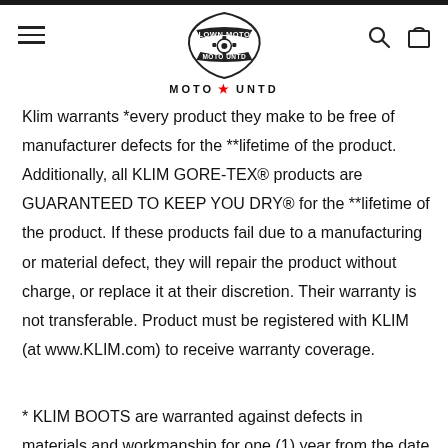[Figure (logo): Blown Motor Moto Untd logo with motorbike shield crest and tagline MOTO UNTD with red star]
Klim warrants *every product they make to be free of manufacturer defects for the **lifetime of the product. Additionally, all KLIM GORE-TEX® products are GUARANTEED TO KEEP YOU DRY® for the **lifetime of the product. If these products fail due to a manufacturing or material defect, they will repair the product without charge, or replace it at their discretion. Their warranty is not transferable. Product must be registered with KLIM (at www.KLIM.com) to receive warranty coverage.
* KLIM BOOTS are warranted against defects in materials and workmanship for one (1) year from the date of